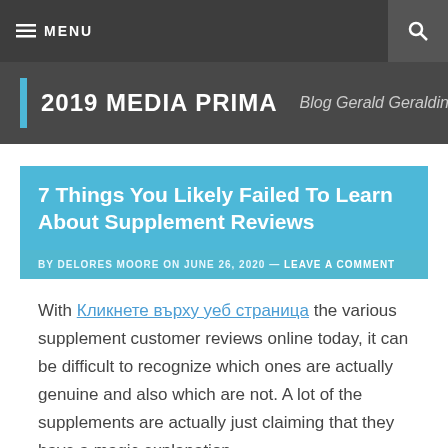≡ MENU | 🔍
2019 MEDIA PRIMA — Blog Gerald Geraldine
7 Things You Likely Failed To Learn About Supplement Reviews
BY DELORES MOORE ON JUNE 26, 2020 — LEAVE A COMMENT
With Кликнете върху уеб страница the various supplement customer reviews online today, it can be difficult to recognize which ones are actually genuine and also which are not. A lot of the supplements are actually just claiming that they have a magic explanation